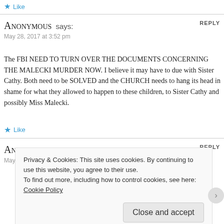Like
Anonymous says:
May 28, 2017 at 3:52 pm
REPLY
The FBI NEED TO TURN OVER THE DOCUMENTS CONCERNING THE MALECKI MURDER NOW. I believe it may have to due with Sister Cathy. Both need to be SOLVED and the CHURCH needs to hang its head in shame for what they allowed to happen to these children, to Sister Cathy and possibly Miss Malecki.
Like
Anonymous says:
May 31, 2017 at 1:50 am
REPLY
Privacy & Cookies: This site uses cookies. By continuing to use this website, you agree to their use.
To find out more, including how to control cookies, see here: Cookie Policy
Close and accept